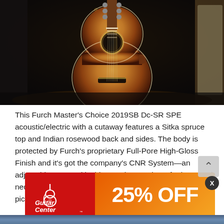[Figure (photo): Photo of a Furch acoustic guitar with sunburst finish (amber to dark brown), Sitka spruce top, shown from the front, displayed in a room setting on a patterned rug with speakers/amplifiers visible in background.]
This Furch Master's Choice 2019SB Dc-SR SPE acoustic/electric with a cutaway features a Sitka spruce top and Indian rosewood back and sides. The body is protected by Furch's proprietary Full-Pore High-Gloss Finish and it's got the company's CNR System—an adjustable truss rod inside a carbon casing—for improved neck stability. There's an LR Baggs Stagepro Element pickup system onboard, too.
[Figure (infographic): Guitar Center advertisement banner with red left panel showing Guitar Center logo with guitar icon, and orange gradient right panel showing '25% OFF' in large white bold text.]
Dob
[Figure (photo): Partial photo visible at bottom of page, appears to be another guitar or music instrument image.]